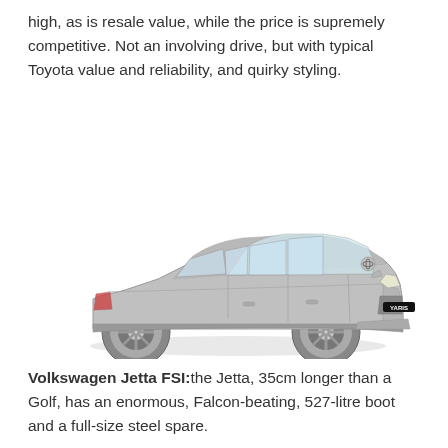high, as is resale value, while the price is supremely competitive. Not an involving drive, but with typical Toyota value and reliability, and quirky styling.
[Figure (photo): Silver Toyota Yaris sedan shown in a three-quarter front view against a white background, with 'YARIS' badge visible on the front grille.]
Volkswagen Jetta FSI: the Jetta, 35cm longer than a Golf, has an enormous, Falcon-beating, 527-litre boot and a full-size steel spare.